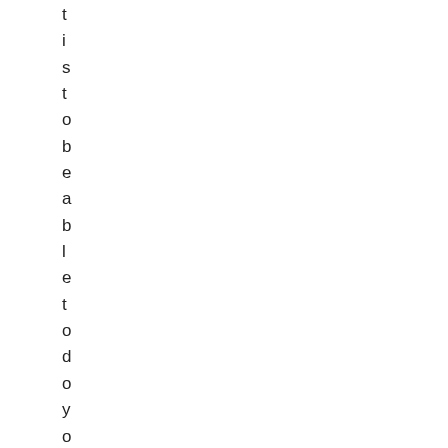tis to be able to do your job, do it g